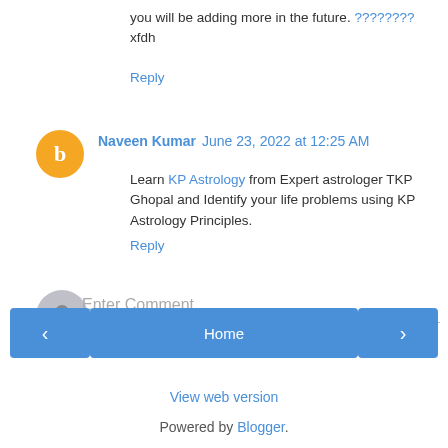you will be adding more in the future. ???????? xfdh
Reply
Naveen Kumar  June 23, 2022 at 12:25 AM
Learn KP Astrology from Expert astrologer TKP Ghopal and Identify your life problems using KP Astrology Principles.
Reply
Enter Comment
Home
View web version
Powered by Blogger.